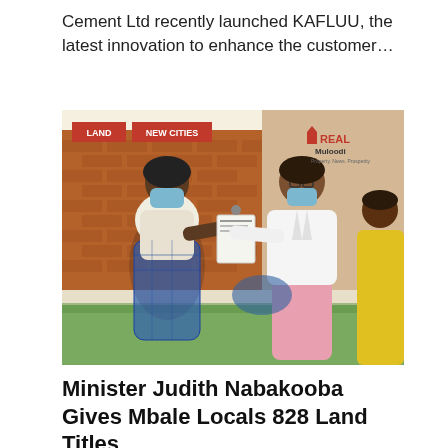Cement Ltd recently launched KAFLUU, the latest innovation to enhance the customer…
[Figure (photo): A woman in a white jacket and pink skirt handing a document/land title to another woman in a patterned dress, both wearing face masks. A third woman in yellow clothing stands in the background. Tags 'LAND' and 'NEW CITIES' appear in red at the top left. A 'REAL Muloodi' watermark is visible in the upper right.]
Minister Judith Nabakooba Gives Mbale Locals 828 Land Titles